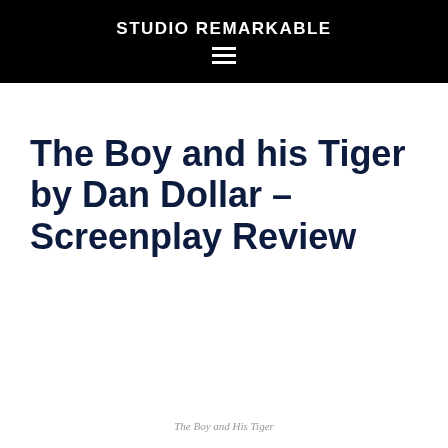STUDIO REMARKABLE
The Boy and his Tiger by Dan Dollar – Screenplay Review
The Boy and His Tiger